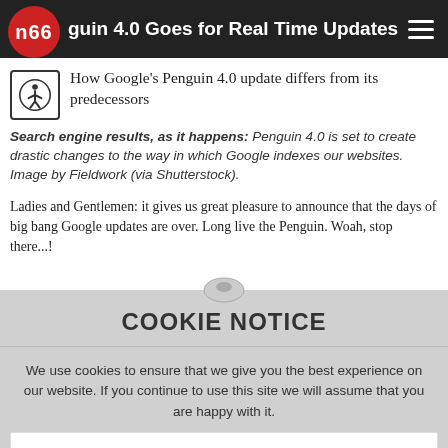Penguin 4.0 Goes for Real Time Updates
How Google's Penguin 4.0 update differs from its predecessors
Search engine results, as it happens: Penguin 4.0 is set to create drastic changes to the way in which Google indexes our websites. Image by Fieldwork (via Shutterstock).
Ladies and Gentlemen: it gives us great pleasure to announce that the days of big bang Google updates are over. Long live the Penguin. Woah, stop there...!
COOKIE NOTICE
We use cookies to ensure that we give you the best experience on our website. If you continue to use this site we will assume that you are happy with it.
ACCEPT & CLOSE
Mobilegeddon 2: Attack of the Mobile Ads